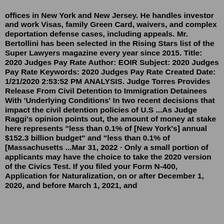offices in New York and New Jersey. He handles investor and work Visas, family Green Card, waivers, and complex deportation defense cases, including appeals. Mr. Bertollini has been selected in the Rising Stars list of the Super Lawyers magazine every year since 2015. Title: 2020 Judges Pay Rate Author: EOIR Subject: 2020 Judges Pay Rate Keywords: 2020 Judges Pay Rate Created Date: 1/21/2020 2:53:52 PM ANALYSIS. Judge Torres Provides Release From Civil Detention to Immigration Detainees With 'Underlying Conditions' In two recent decisions that impact the civil detention policies of U.S ...As Judge Raggi's opinion points out, the amount of money at stake here represents "less than 0.1% of [New York's] annual $152.3 billion budget" and "less than 0.1% of [Massachusetts ...Mar 31, 2022 · Only a small portion of applicants may have the choice to take the 2020 version of the Civics Test. If you filed your Form N-400, Application for Naturalization, on or after December 1, 2020, and before March 1, 2021, and